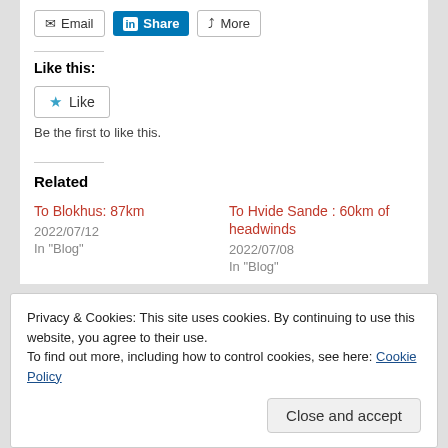[Figure (screenshot): Share buttons: Email, LinkedIn Share, More]
Like this:
[Figure (screenshot): Like button with star icon]
Be the first to like this.
Related
To Blokhus: 87km
2022/07/12
In "Blog"
To Hvide Sande : 60km of headwinds
2022/07/08
In "Blog"
Privacy & Cookies: This site uses cookies. By continuing to use this website, you agree to their use.
To find out more, including how to control cookies, see here: Cookie Policy